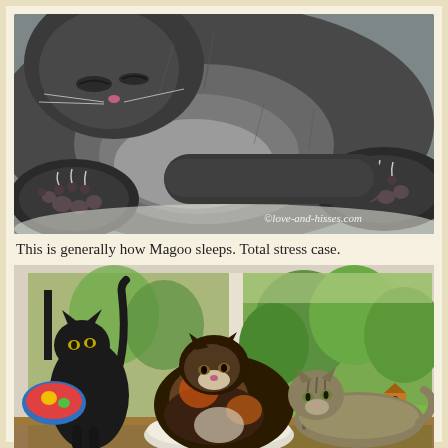[Figure (photo): Close-up photo of a gray fluffy cat (Magoo) sleeping on its back with paws stretched out, showing paw pads and claws. Watermark reads ©love-and-hisses.com in lower right corner.]
This is generally how Magoo sleeps. Total stress case.
[Figure (photo): Photo of three cats near a window with a green outdoor view. A black cat stands on the left, a tortoiseshell cat sits in the center on a round white bed, and a tabby cat lounges on the right side of the windowsill.]